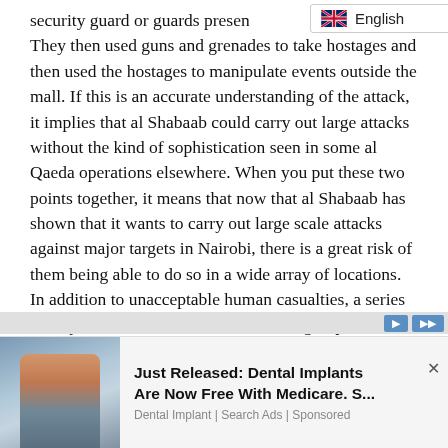security guard or guards present them. They then used guns and grenades to take hostages and then used the hostages to manipulate events outside the mall. If this is an accurate understanding of the attack, it implies that al Shabaab could carry out large attacks without the kind of sophistication seen in some al Qaeda operations elsewhere. When you put these two points together, it means that now that al Shabaab has shown that it wants to carry out large scale attacks against major targets in Nairobi, there is a great risk of them being able to do so in a wide array of locations. In addition to unacceptable human casualties, a series of major attacks would have devastating implications for Kenya's economy and democratic transition as well as regional stability. A better understanding of al Shabaab's plans and a more practical foreign policy approach
[Figure (screenshot): Language selector dropdown showing UK flag and 'English' label with chevron]
[Figure (photo): Advertisement banner: photo of a smiling woman outdoors on the left, ad text 'Just Released: Dental Implants Are Now Free With Medicare. S...' with source 'Dental Implant | Search Ads | Sponsored' on the right]